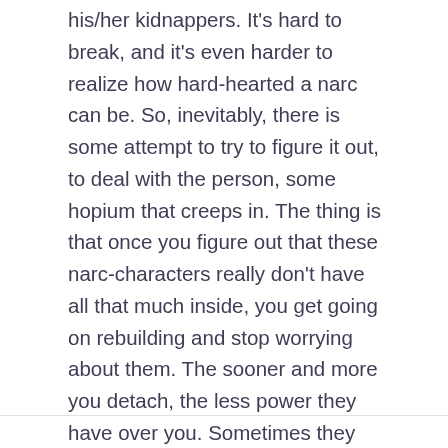his/her kidnappers. It's hard to break, and it's even harder to realize how hard-hearted a narc can be. So, inevitably, there is some attempt to try to figure it out, to deal with the person, some hopium that creeps in. The thing is that once you figure out that these narc-characters really don't have all that much inside, you get going on rebuilding and stop worrying about them. The sooner and more you detach, the less power they have over you. Sometimes they rage. Often they abandon what they can't control.
[Figure (other): Like button with thumbs up icon and count of 0]
[Figure (other): Reply to David button with reply arrow icon, teal border and text]